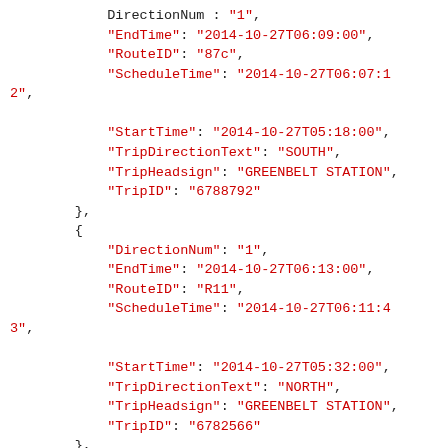JSON code snippet showing transit trip data objects with fields: DirectionNum, EndTime, RouteID, ScheduleTime, StartTime, TripDirectionText, TripHeadsign, TripID for multiple trip entries.